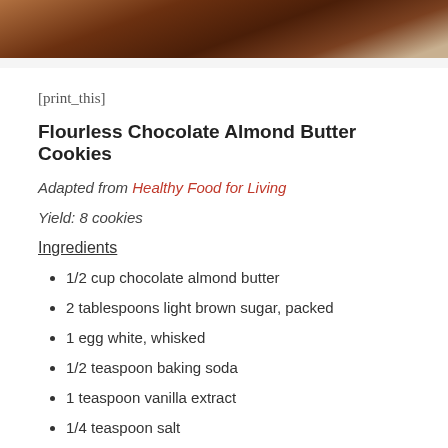[Figure (photo): Close-up photo of a dark chocolate cookie or brownie on a white plate, viewed from above at an angle, top portion cropped.]
[print_this]
Flourless Chocolate Almond Butter Cookies
Adapted from Healthy Food for Living
Yield: 8 cookies
Ingredients
1/2 cup chocolate almond butter
2 tablespoons light brown sugar, packed
1 egg white, whisked
1/2 teaspoon baking soda
1 teaspoon vanilla extract
1/4 teaspoon salt